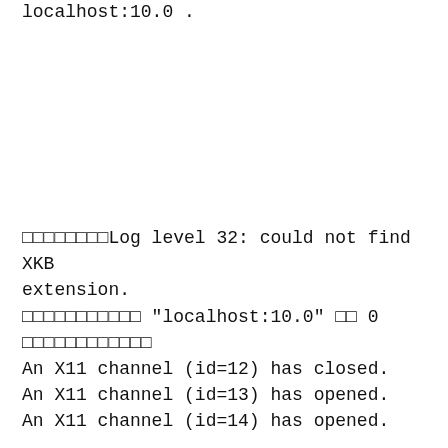localhost:10.0 .
□□□□□□□□Log level 32: could not find XKB extension.
□□□□□□□□□□□ "localhost:10.0" □□ 0 □□□□□□□□□□□□
An X11 channel (id=12) has closed.
An X11 channel (id=13) has opened.
An X11 channel (id=14) has opened.